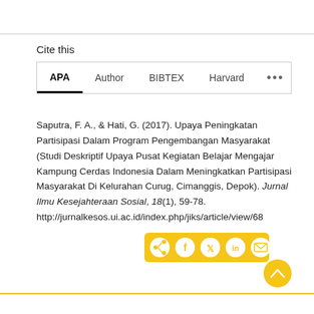Cite this
APA   Author   BIBTEX   Harvard   ...
Saputra, F. A., & Hati, G. (2017). Upaya Peningkatan Partisipasi Dalam Program Pengembangan Masyarakat (Studi Deskriptif Upaya Pusat Kegiatan Belajar Mengajar Kampung Cerdas Indonesia Dalam Meningkatkan Partisipasi Masyarakat Di Kelurahan Curug, Cimanggis, Depok). Jurnal Ilmu Kesejahteraan Sosial, 18(1), 59-78. http://jurnalkesos.ui.ac.id/index.php/jiks/article/view/68
[Figure (other): Social share bar with icons for share, Facebook, Twitter, LinkedIn, email, and a scroll-to-top button, on a yellow background]